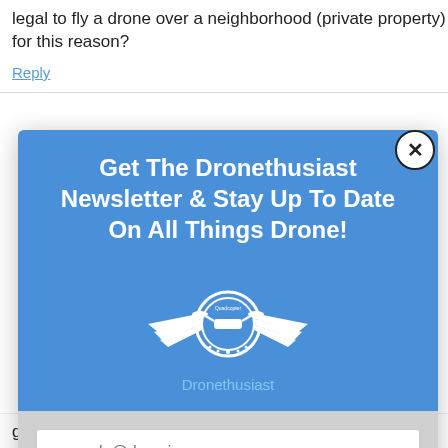legal to fly a drone over a neighborhood (private property) for this reason?
Reply
[Figure (screenshot): Newsletter signup modal popup for Dronethusiast with blue header and gray input form section. Header reads 'Get The Dronethusiast Newsletter & Stay Up To Date On All Things Drone!' with a drone logo. Below is an email input field and a SUBSCRIBE button.]
good at spotting them. Do you hobbyist drone